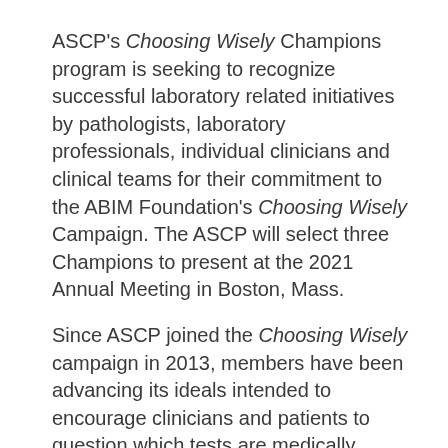ASCP's Choosing Wisely Champions program is seeking to recognize successful laboratory related initiatives by pathologists, laboratory professionals, individual clinicians and clinical teams for their commitment to the ABIM Foundation's Choosing Wisely Campaign. The ASCP will select three Champions to present at the 2021 Annual Meeting in Boston, Mass.
Since ASCP joined the Choosing Wisely campaign in 2013, members have been advancing its ideals intended to encourage clinicians and patients to question which tests are medically necessary. Effective test utilization reduces test overuse and improves the nation's healthcare system.